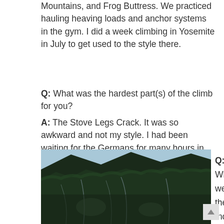Mountains, and Frog Buttress. We practiced hauling heaving loads and anchor systems in the gym. I did a week climbing in Yosemite in July to get used to the style there.
Q: What was the hardest part(s) of the climb for you?
A: The Stove Legs Crack. It was so awkward and not my style. I had been waiting for the Germans for many hours in hanging belays and the wind was howling.
[Figure (photo): Aerial/landscape photo of a steep mountain face covered in dark coniferous forest with dramatic ridgelines and rocky cliffs.]
Q: What were the most